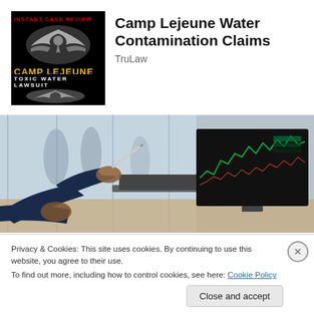[Figure (logo): Camp Lejeune Toxic Water Lawsuit logo on black background with eagle emblem, yellow CAMP LEJEUNE text, and red INSTANT CASE REVIEW text]
Camp Lejeune Water Contamination Claims
TruLaw
[Figure (photo): Photo of a person pointing at a laptop screen showing financial trading charts, with another person gesturing, in an office setting with large windows]
Privacy & Cookies: This site uses cookies. By continuing to use this website, you agree to their use.
To find out more, including how to control cookies, see here: Cookie Policy
Close and accept